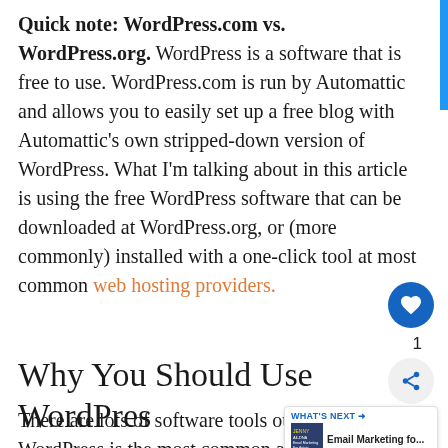Quick note: WordPress.com vs. WordPress.org. WordPress is a software that is free to use. WordPress.com is run by Automattic and allows you to easily set up a free blog with Automattic's own stripped-down version of WordPress. What I'm talking about in this article is using the free WordPress software that can be downloaded at WordPress.org, or (more commonly) installed with a one-click tool at most common web hosting providers.
Why You Should Use WordPress
There are lots of software tools out th... WordPress is the most common and (arguably)